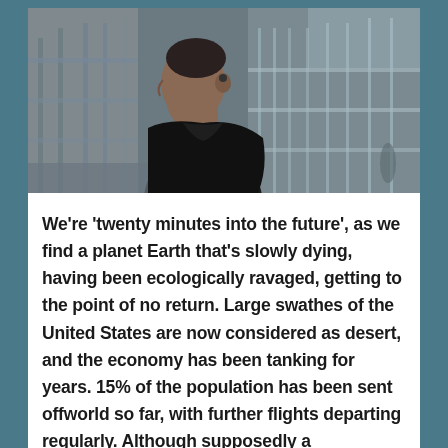[Figure (photo): A man in a dark jacket viewed from the side/behind, standing near metal railings or fencing, in an urban or industrial setting. Moody, dark-toned photograph.]
We're 'twenty minutes into the future', as we find a planet Earth that's slowly dying, having been ecologically ravaged, getting to the point of no return. Large swathes of the United States are now considered as desert, and the economy has been tanking for years. 15% of the population has been sent offworld so far, with further flights departing regularly. Although supposedly a